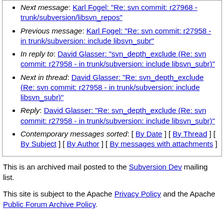Next message: Karl Fogel: "Re: svn commit: r27968 - trunk/subversion/libsvn_repos"
Previous message: Karl Fogel: "Re: svn commit: r27958 - in trunk/subversion: include libsvn_subr"
In reply to: David Glasser: "svn_depth_exclude (Re: svn commit: r27958 - in trunk/subversion: include libsvn_subr)"
Next in thread: David Glasser: "Re: svn_depth_exclude (Re: svn commit: r27958 - in trunk/subversion: include libsvn_subr)"
Reply: David Glasser: "Re: svn_depth_exclude (Re: svn commit: r27958 - in trunk/subversion: include libsvn_subr)"
Contemporary messages sorted: [ By Date ] [ By Thread ] [ By Subject ] [ By Author ] [ By messages with attachments ]
This is an archived mail posted to the Subversion Dev mailing list.
This site is subject to the Apache Privacy Policy and the Apache Public Forum Archive Policy.